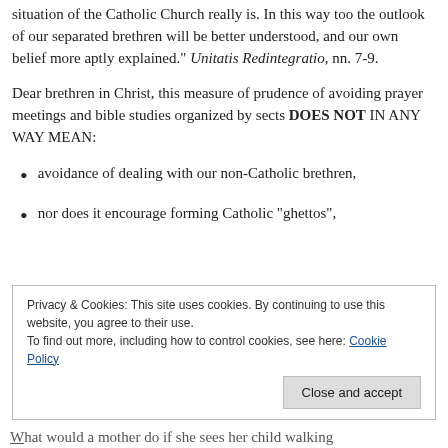situation of the Catholic Church really is. In this way too the outlook of our separated brethren will be better understood, and our own belief more aptly explained." Unitatis Redintegratio, nn. 7-9.
Dear brethren in Christ, this measure of prudence of avoiding prayer meetings and bible studies organized by sects DOES NOT IN ANY WAY MEAN:
avoidance of dealing with our non-Catholic brethren,
nor does it encourage forming Catholic “ghettos”,
Privacy & Cookies: This site uses cookies. By continuing to use this website, you agree to their use.
To find out more, including how to control cookies, see here: Cookie Policy
What would a mother do if she sees her child walking